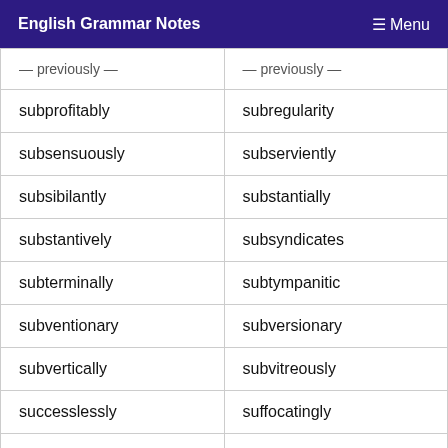English Grammar Notes  ≡ Menu
| (partial top row) | (partial top row) |
| subprofitably | subregularity |
| subsensuously | subserviently |
| subsibilantly | substantially |
| substantively | subsyndicates |
| subterminally | subtympanitic |
| subventionary | subversionary |
| subvertically | subvitreously |
| successlessly | suffocatingly |
| sulfapyridine | superabsurdly |